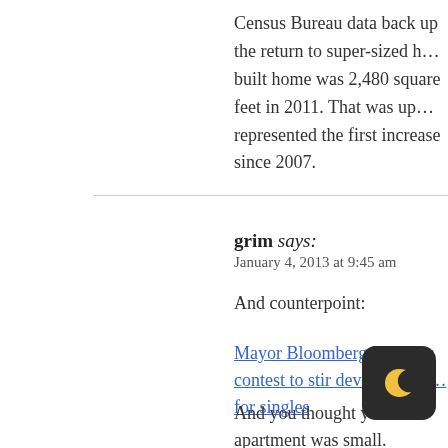Census Bureau data back up the return to super-sized h… built home was 2,480 square feet in 2011. That was up… represented the first increase since 2007.
grim says:
January 4, 2013 at 9:45 am
And counterpoint:
Mayor Bloomberg launches contest to stir development… for singles
And you thought your apartment was small.
Mayor Bloomberg launched a contest Monday to stir d… apartments — called micro units — for you… singles … shoebox-sized digs.
The new closetlike flats will be just 275 to 300 square f… smaller than a mobile home — and will have special r…